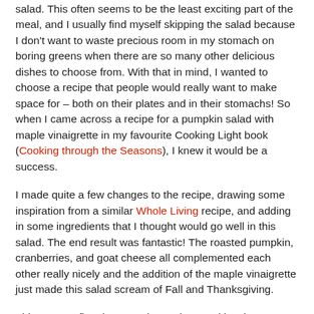salad. This often seems to be the least exciting part of the meal, and I usually find myself skipping the salad because I don't want to waste precious room in my stomach on boring greens when there are so many other delicious dishes to choose from. With that in mind, I wanted to choose a recipe that people would really want to make space for – both on their plates and in their stomachs! So when I came across a recipe for a pumpkin salad with maple vinaigrette in my favourite Cooking Light book (Cooking through the Seasons), I knew it would be a success.
I made quite a few changes to the recipe, drawing some inspiration from a similar Whole Living recipe, and adding in some ingredients that I thought would go well in this salad. The end result was fantastic! The roasted pumpkin, cranberries, and goat cheese all complemented each other really nicely and the addition of the maple vinaigrette just made this salad scream of Fall and Thanksgiving.
This was my first time roasting a pie pumpkin, since I usually stick to the canned stuff. If you've never bought one, they might also be called sugar pumpkins or sweet pumpkins, and